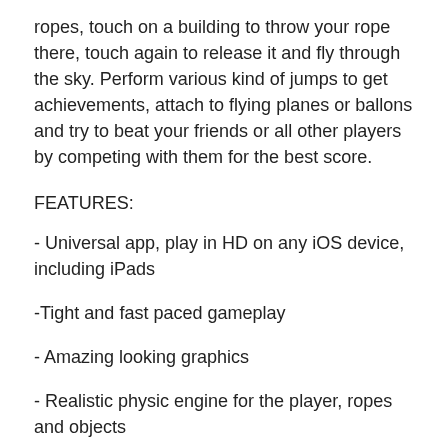ropes, touch on a building to throw your rope there, touch again to release it and fly through the sky. Perform various kind of jumps to get achievements, attach to flying planes or ballons and try to beat your friends or all other players by competing with them for the best score.
FEATURES:
- Universal app, play in HD on any iOS device, including iPads
-Tight and fast paced gameplay
- Amazing looking graphics
- Realistic physic engine for the player, ropes and objects
- Play in different daytime, from Morning through Night till Dawn